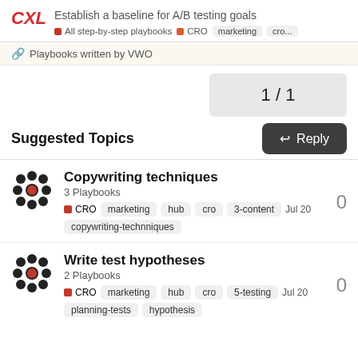CXL — Establish a baseline for A/B testing goals | All step-by-step playbooks · CRO · marketing · cro...
🔗 Playbooks written by VWO
1 / 1
↩ Reply
Suggested Topics
Copywriting techniques
3 Playbooks
CRO  marketing  hub  cro  3-content  Jul 20
copywriting-technniques
Write test hypotheses
2 Playbooks
CRO  marketing  hub  cro  5-testing  Jul 20
planning-tests  hypothesis